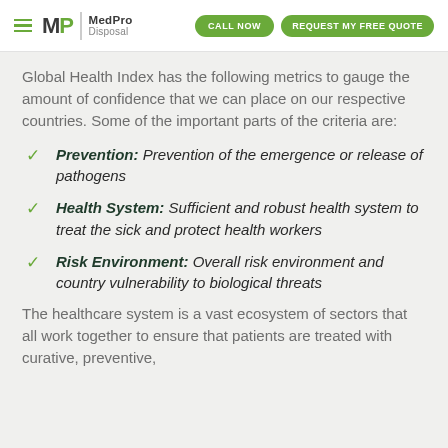MedPro Disposal | CALL NOW | REQUEST MY FREE QUOTE
Global Health Index has the following metrics to gauge the amount of confidence that we can place on our respective countries. Some of the important parts of the criteria are:
Prevention: Prevention of the emergence or release of pathogens
Health System: Sufficient and robust health system to treat the sick and protect health workers
Risk Environment: Overall risk environment and country vulnerability to biological threats
The healthcare system is a vast ecosystem of sectors that all work together to ensure that patients are treated with curative, preventive,